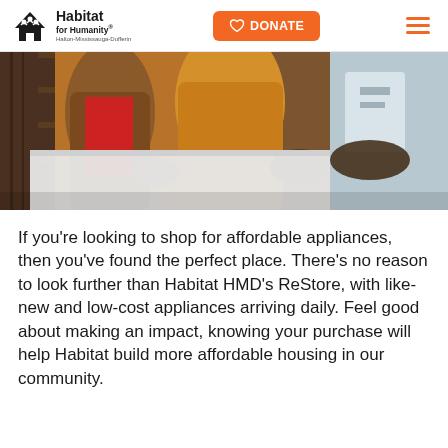Habitat for Humanity Halton-Mississauga-Dufferin — navigation bar with DONATE button
[Figure (photo): People leaning over a white counter or display surface in what appears to be a ReStore thrift shop, with wooden shelving visible in the background. One person wears a brown leather jacket over red shirt, another wears a yellow/mustard top.]
If you're looking to shop for affordable appliances, then you've found the perfect place. There's no reason to look further than Habitat HMD's ReStore, with like-new and low-cost appliances arriving daily. Feel good about making an impact, knowing your purchase will help Habitat build more affordable housing in our community.